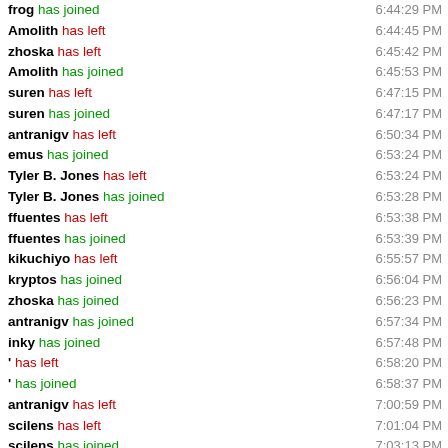frog has joined 6:44:29 PM
Amolith has left 6:44:45 PM
zhoska has left 6:45:42 PM
Amolith has joined 6:45:53 PM
suren has left 6:47:15 PM
suren has joined 6:47:17 PM
antranigv has left 6:50:34 PM
emus has joined 6:53:24 PM
Tyler B. Jones has left 6:53:24 PM
Tyler B. Jones has joined 6:53:28 PM
ffuentes has left 6:53:38 PM
ffuentes has joined 6:53:39 PM
kikuchiyo has left 6:55:57 PM
kryptos has joined 6:56:04 PM
zhoska has joined 6:56:23 PM
antranigv has joined 6:57:34 PM
inky has joined 6:57:48 PM
' has left 6:58:20 PM
' has joined 6:58:37 PM
antranigv has left 7:00:59 PM
scilens has left 7:01:04 PM
scilens has joined 7:03:13 PM
antranigv has joined 7:05:35 PM
belong has left 7:06:24 PM
belong has joined 7:06:28 PM